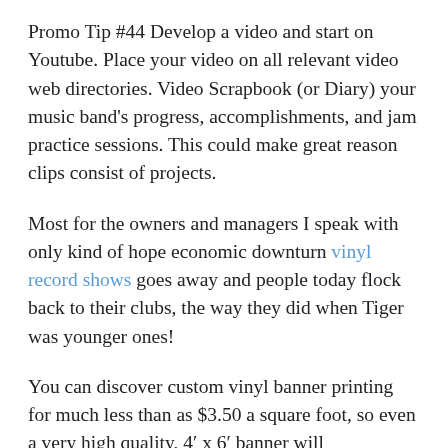Promo Tip #44 Develop a video and start on Youtube. Place your video on all relevant video web directories. Video Scrapbook (or Diary) your music band's progress, accomplishments, and jam practice sessions. This could make great reason clips consist of projects.
Most for the owners and managers I speak with only kind of hope economic downturn vinyl record shows goes away and people today flock back to their clubs, the way they did when Tiger was younger ones!
You can discover custom vinyl banner printing for much less than as $3.50 a square foot, so even a very high quality, 4′ x 6′ banner will undoubtedly cost you around $80. Certain companies can even get your vinyl banners delivered in your own door because little as 3 business days. When you’re on a decent